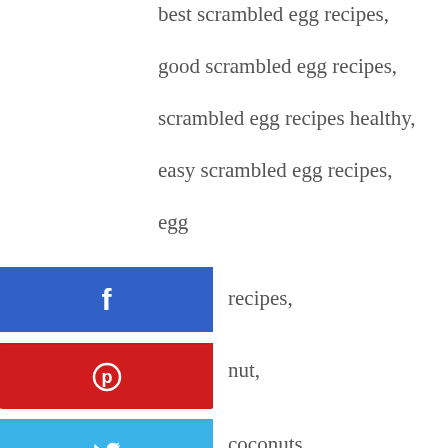best scrambled egg recipes,
good scrambled egg recipes,
scrambled egg recipes healthy,
easy scrambled egg recipes,
egg
recipes,
nut,
coconuts,
coconut cream,
coconut rice,
coconut shrimp,
coconut sugar,
coconut flour,
coconut rum,
coconut grove,
coconut cookies,
coconut flour recipes,